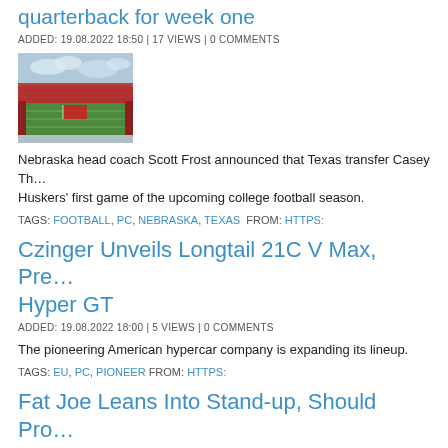quarterback for week one
ADDED: 19.08.2022 18:50 | 17 VIEWS | 0 COMMENTS
[Figure (photo): Aerial view of a football stadium with a large flag on the field, packed with spectators]
Nebraska head coach Scott Frost announced that Texas transfer Casey Th... Huskers' first game of the upcoming college football season.
TAGS: FOOTBALL, PC, NEBRASKA, TEXAS  FROM: HTTPS:
Czinger Unveils Longtail 21C V Max, Pre... Hyper GT
ADDED: 19.08.2022 18:00 | 5 VIEWS | 0 COMMENTS
The pioneering American hypercar company is expanding its lineup.
TAGS: EU, PC, PIONEER  FROM: HTTPS:
Fat Joe Leans Into Stand-up, Should Pro...
ADDED: 19.08.2022 17:22 | 2 VIEWS | 0 COMMENTS